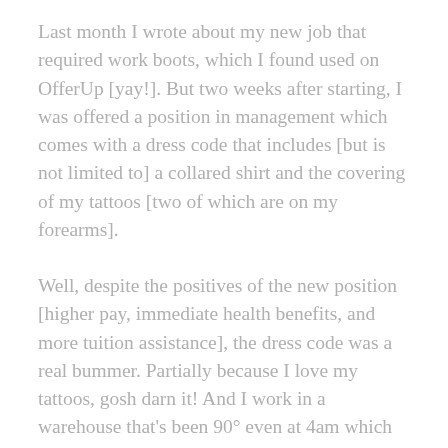Last month I wrote about my new job that required work boots, which I found used on OfferUp [yay!]. But two weeks after starting, I was offered a position in management which comes with a dress code that includes [but is not limited to] a collared shirt and the covering of my tattoos [two of which are on my forearms].
Well, despite the positives of the new position [higher pay, immediate health benefits, and more tuition assistance], the dress code was a real bummer. Partially because I love my tattoos, gosh darn it! And I work in a warehouse that's been 90° even at 4am which makes wearing long sleeves totally unbearable! But it's a bummer mostly because, other than the purchase of three pairs of panties with a Christmas gift card last year, I haven't bought a single item of clothing in over three years.
All that changed this month. I bought a total of three pairs...